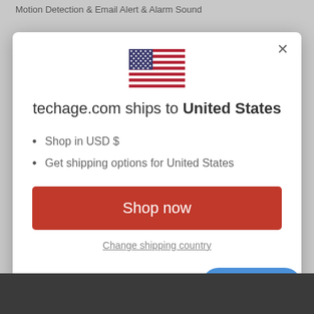Motion Detection & Email Alert & Alarm Sound
AI Human Body Detection, Night activating Color opece
[Figure (screenshot): Modal dialog with US flag, shipping info for United States, Shop now button, and Change shipping country link]
techage.com ships to United States
Shop in USD $
Get shipping options for United States
Shop now
Change shipping country
Chat with us